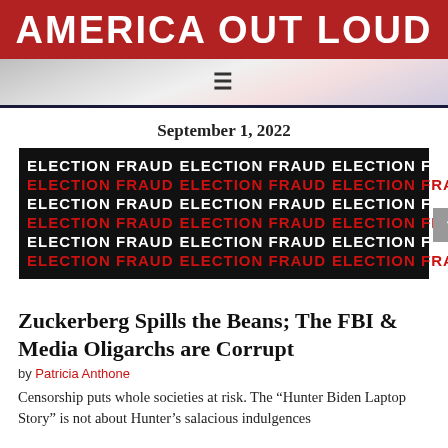AMERICA OUT LOUD
[Figure (illustration): Navigation bar with flag background and hamburger menu icon]
September 1, 2022
[Figure (infographic): Black background image with repeating text 'ELECTION FRAUD' in alternating white and red rows]
Zuckerberg Spills the Beans; The FBI & Media Oligarchs are Corrupt
by Patricia Anthone
Censorship puts whole societies at risk. The "Hunter Biden Laptop Story" is not about Hunter's salacious indulgences